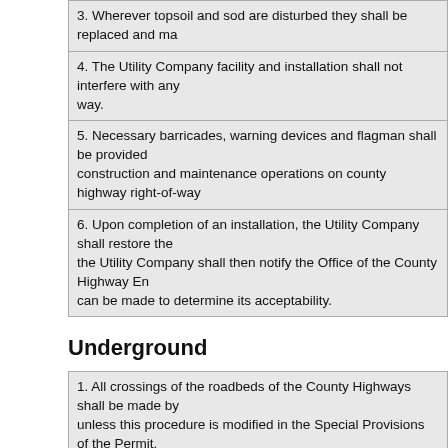3. Wherever topsoil and sod are disturbed they shall be replaced and ma
4. The Utility Company facility and installation shall not interfere with any way.
5. Necessary barricades, warning devices and flagman shall be provided construction and maintenance operations on county highway right-of-way
6. Upon completion of an installation, the Utility Company shall restore the the Utility Company shall then notify the Office of the County Highway En can be made to determine its acceptability.
Underground
1. All crossings of the roadbeds of the County Highways shall be made by unless this procedure is modified in the Special Provisions of the Permit. more than one inch. Open trenching shall be restricted to the area from fi except as modified in the Special Provisions of the Permit.
2. When pipes with bells or flanges are installed, the crossings of the roa inside a conduit as provided in paragraph 1 of this section or jacking a co carrier pipe through it.
3. All voids caused by jacking or boring shall be filled by pressure groutin slurry of at least two sacks of cement per cubic yard and a minimum of wa
4. The underground utilities shall be so installed as virtually to preclude a maintenance operations.